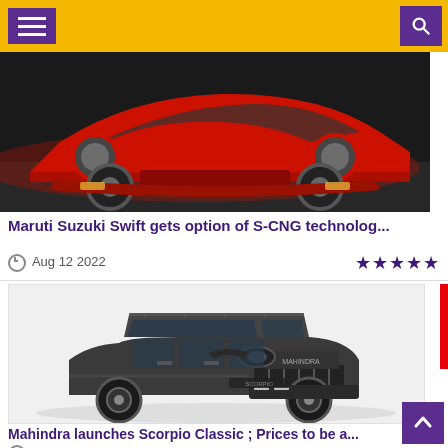Navigation header with menu and search buttons
[Figure (photo): Front view of a red Maruti Suzuki Swift car]
Maruti Suzuki Swift gets option of S-CNG technolog...
Aug 12 2022  ★★★★★
[Figure (photo): Dark grey Mahindra Scorpio Classic SUV on white background]
Mahindra launches Scorpio Classic ; Prices to be a...
Aug 12 2022  ★★